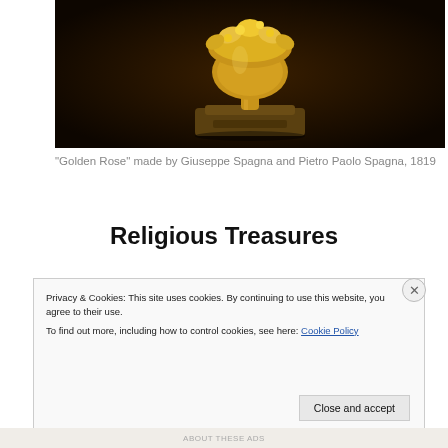[Figure (photo): Dark background photograph of a Golden Rose artifact, a gilded ornamental object with gold floral decorations on a pedestal/base, displayed against a dark brown/black background.]
“Golden Rose” made by Giuseppe Spagna and Pietro Paolo Spagna, 1819
Religious Treasures
Privacy & Cookies: This site uses cookies. By continuing to use this website, you agree to their use.
To find out more, including how to control cookies, see here: Cookie Policy
Close and accept